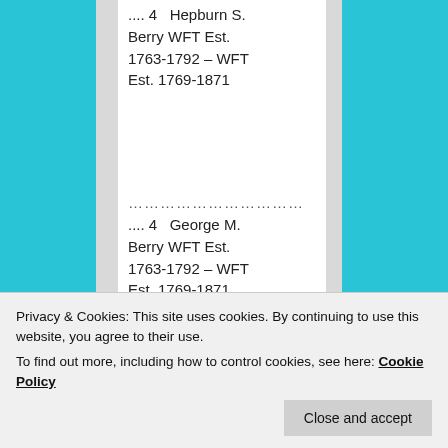.... 4   Hepburn S. Berry WFT Est. 1763-1792 – WFT Est. 1769-1871
.... 4   George M. Berry WFT Est. 1763-1792 – WFT Est. 1769-1871
................ 3 Benjamin Berry 1745 – 1804
+Chloe WFT Est.
Est. 1771-1876
Privacy & Cookies: This site uses cookies. By continuing to use this website, you agree to their use.
To find out more, including how to control cookies, see here: Cookie Policy
Close and accept